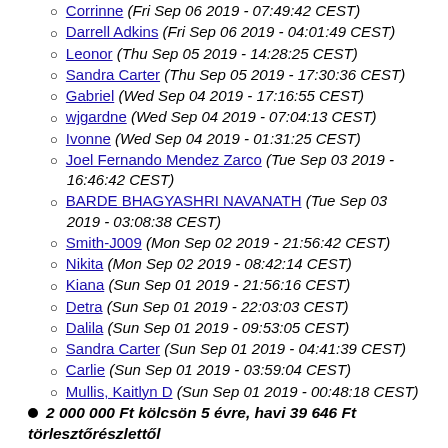Corrinne (Fri Sep 06 2019 - 07:49:42 CEST)
Darrell Adkins (Fri Sep 06 2019 - 04:01:49 CEST)
Leonor (Thu Sep 05 2019 - 14:28:25 CEST)
Sandra Carter (Thu Sep 05 2019 - 17:30:36 CEST)
Gabriel (Wed Sep 04 2019 - 17:16:55 CEST)
wjgardne (Wed Sep 04 2019 - 07:04:13 CEST)
Ivonne (Wed Sep 04 2019 - 01:31:25 CEST)
Joel Fernando Mendez Zarco (Tue Sep 03 2019 - 16:46:42 CEST)
BARDE BHAGYASHRI NAVANATH (Tue Sep 03 2019 - 03:08:38 CEST)
Smith-J009 (Mon Sep 02 2019 - 21:56:42 CEST)
Nikita (Mon Sep 02 2019 - 08:42:14 CEST)
Kiana (Sun Sep 01 2019 - 21:56:16 CEST)
Detra (Sun Sep 01 2019 - 22:03:03 CEST)
Dalila (Sun Sep 01 2019 - 09:53:05 CEST)
Sandra Carter (Sun Sep 01 2019 - 04:41:39 CEST)
Carlie (Sun Sep 01 2019 - 03:59:04 CEST)
Mullis, Kaitlyn D (Sun Sep 01 2019 - 00:48:18 CEST)
2 000 000 Ft kölcsön 5 évre, havi 39 646 Ft törlesztőrészlettől
Bankkalkulátor.hu (Wed Sep 04 2019 - 10:14:29 CEST)
Bankkalkulátor.hu (Tue Sep 03 2019 - 11:17:09 CEST)
2019 XPG New Product line-up, Now available!